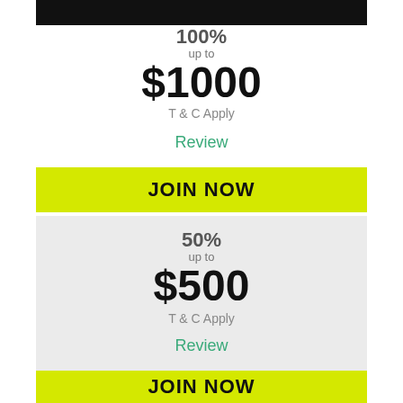[Figure (screenshot): Black banner image at top of card]
100%
up to
$1000
T & C Apply
Review
JOIN NOW
50%
up to
$500
T & C Apply
Review
JOIN NOW